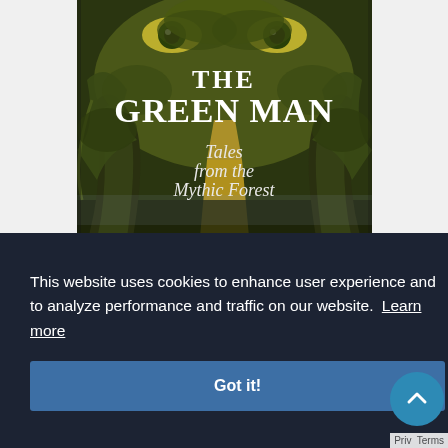[Figure (illustration): Book cover for 'The Green Man: Tales from the Mythic Forest'. Dark fantasy illustration showing a green-tinged forest scene with large eyes peering from foliage at the top, twisted tree trunks forming a path, and a glowing yellow path receding into the distance. White stylized serif text reads 'The Green Man' at top, with 'Tales from the Mythic Forest' below in a cursive/italic style.]
This website uses cookies to enhance user experience and to analyze performance and traffic on our website. Learn more
Got it!